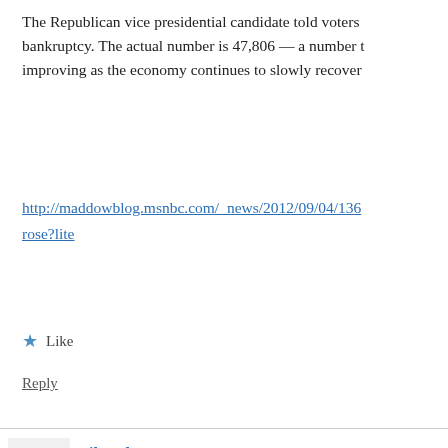The Republican vice presidential candidate told voters ... bankruptcy. The actual number is 47,806 — a number that is improving as the economy continues to slowly recover
http://maddowblog.msnbc.com/_news/2012/09/04/136...rose?lite
Like
Reply
rikyrah says: September 4, 2012 at 1:52 pm
Obama Has the Momentum
by BooMan
Tue Sep 4th, 2012 at 12:45:21 PM EST